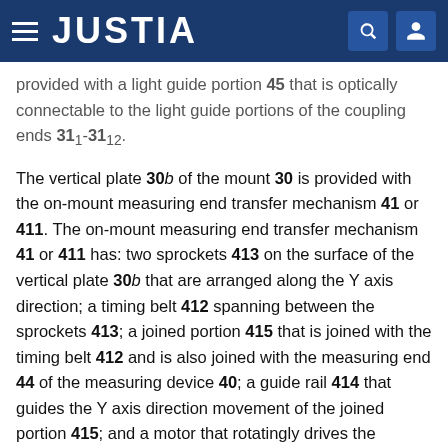JUSTIA
provided with a light guide portion 45 that is optically connectable to the light guide portions of the coupling ends 31₁-31₁₂.
The vertical plate 30b of the mount 30 is provided with the on-mount measuring end transfer mechanism 41 or 411. The on-mount measuring end transfer mechanism 41 or 411 has: two sprockets 413 on the surface of the vertical plate 30b that are arranged along the Y axis direction; a timing belt 412 spanning between the sprockets 413; a joined portion 415 that is joined with the timing belt 412 and is also joined with the measuring end 44 of the measuring device 40; a guide rail 414 that guides the Y axis direction movement of the joined portion 415; and a motor that rotatingly drives the sprockets 413.
FIG. 5 is a drawing showing, at the time the dispensing